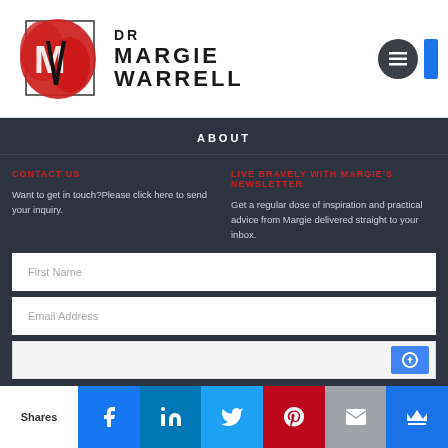[Figure (logo): Dr Margie Warrell logo with red brushstroke background and stylized M/W letterforms]
ABOUT
CONTACT US
Want to get in touch?Please click here to send your inquiry.
LIVE BRAVELY WITH MARGIE'S NEWSLETTER
Get a regular dose of inspiration and practical advice from Margie delivered straight to your inbox.
[Figure (screenshot): Newsletter signup form with First Name and Email Address input fields and a reCAPTCHA widget]
Shares | Facebook | LinkedIn | Twitter | Pinterest | Email | Crown